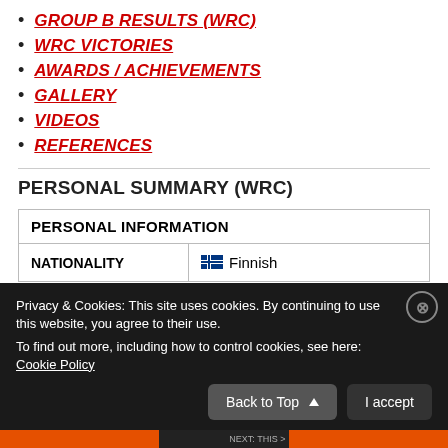GROUP B RESULTS (WRC)
WRC VICTORIES
AWARDS / ACHIEVEMENTS
GALLERY
VIDEOS
REFERENCES
PERSONAL SUMMARY (WRC)
| PERSONAL INFORMATION |
| --- |
| NATIONALITY | Finnish |
Privacy & Cookies: This site uses cookies. By continuing to use this website, you agree to their use. To find out more, including how to control cookies, see here: Cookie Policy